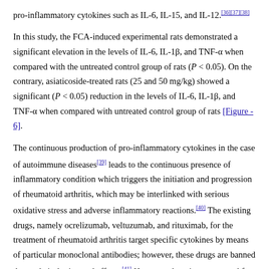pro-inflammatory cytokines such as IL-6, IL-15, and IL-12.[36],[37],[38]
In this study, the FCA-induced experimental rats demonstrated a significant elevation in the levels of IL-6, IL-1β, and TNF-α when compared with the untreated control group of rats (P < 0.05). On the contrary, asiaticoside-treated rats (25 and 50 mg/kg) showed a significant (P < 0.05) reduction in the levels of IL-6, IL-1β, and TNF-α when compared with untreated control group of rats [Figure - 6].
The continuous production of pro-inflammatory cytokines in the case of autoimmune diseases[39] leads to the continuous presence of inflammatory condition which triggers the initiation and progression of rheumatoid arthritis, which may be interlinked with serious oxidative stress and adverse inflammatory reactions.[40] The existing drugs, namely ocrelizumab, veltuzumab, and rituximab, for the treatment of rheumatoid arthritis target specific cytokines by means of particular monoclonal antibodies; however, these drugs are banned due to their detrimental effects.[41] However, there is a great need for the development of novel herbal-based drugs to treat rheumatoid arthritis efficiently.[42]